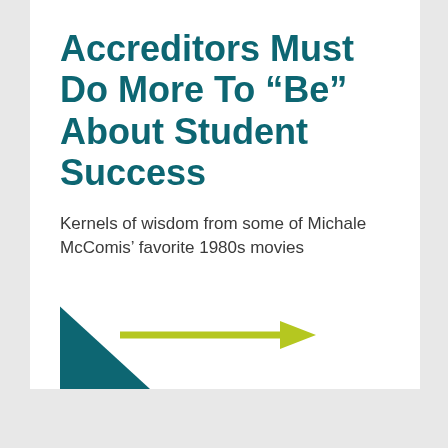Accreditors Must Do More To “Be” About Student Success
Kernels of wisdom from some of Michale McComis’ favorite 1980s movies
[Figure (illustration): A teal triangle in the bottom-left corner with a yellow-green arrow pointing right overlaid on it]